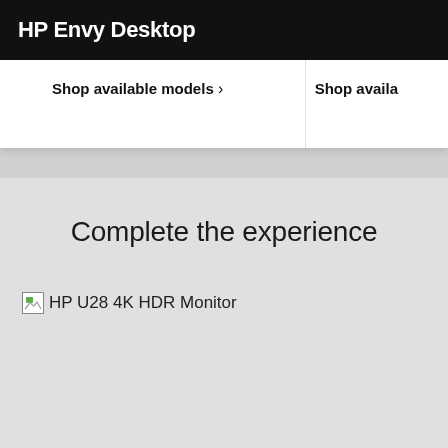HP Envy Desktop
Shop available models >
Shop availa
Complete the experience
[Figure (photo): Broken image placeholder for HP U28 4K HDR Monitor with alt text label]